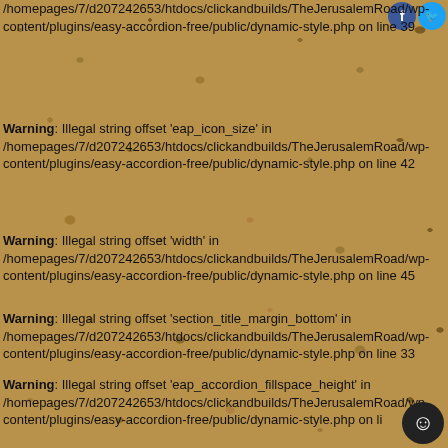/homepages/7/d207242653/htdocs/clickandbuilds/TheJerusalemRoad/wp-content/plugins/easy-accordion-free/public/dynamic-style.php on line 39
Warning: Illegal string offset 'eap_icon_size' in /homepages/7/d207242653/htdocs/clickandbuilds/TheJerusalemRoad/wp-content/plugins/easy-accordion-free/public/dynamic-style.php on line 42
Warning: Illegal string offset 'width' in /homepages/7/d207242653/htdocs/clickandbuilds/TheJerusalemRoad/wp-content/plugins/easy-accordion-free/public/dynamic-style.php on line 45
Warning: Illegal string offset 'section_title_margin_bottom' in /homepages/7/d207242653/htdocs/clickandbuilds/TheJerusalemRoad/wp-content/plugins/easy-accordion-free/public/dynamic-style.php on line 33
Warning: Illegal string offset 'eap_accordion_fillspace_height' in /homepages/7/d207242653/htdocs/clickandbuilds/TheJerusalemRoad/wp-content/plugins/easy-accordion-free/public/dynamic-style.php on li